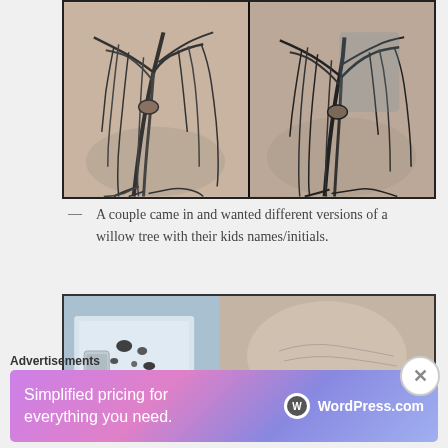[Figure (photo): Two side-by-side photos of tattoos on someone's shoulder/back showing willow tree designs in black ink]
— A couple came in and wanted different versions of a willow tree with their kids names/initials.
[Figure (photo): Photo showing a tattoo in progress on an arm/wrist area with tattoo supplies visible]
Advertisements
[Figure (screenshot): WordPress.com advertisement banner: Simplified pricing for everything you need. WordPress.com]